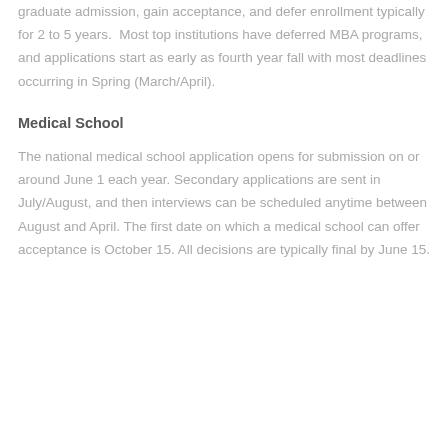graduate admission, gain acceptance, and defer enrollment typically for 2 to 5 years.  Most top institutions have deferred MBA programs, and applications start as early as fourth year fall with most deadlines occurring in Spring (March/April).
Medical School
The national medical school application opens for submission on or around June 1 each year. Secondary applications are sent in July/August, and then interviews can be scheduled anytime between August and April. The first date on which a medical school can offer acceptance is October 15. All decisions are typically final by June 15.